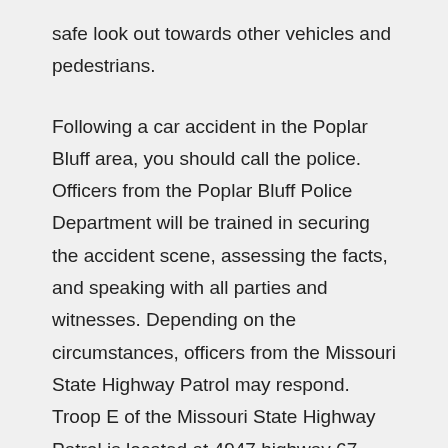safe look out towards other vehicles and pedestrians.
Following a car accident in the Poplar Bluff area, you should call the police. Officers from the Poplar Bluff Police Department will be trained in securing the accident scene, assessing the facts, and speaking with all parties and witnesses. Depending on the circumstances, officers from the Missouri State Highway Patrol may respond. Troop E of the Missouri State Highway Patrol is located at 4947 highway 67 North, Poplar Bluff, MO 63901-8719. Typically, police reports are a good place to start when it comes to looking into the accident and